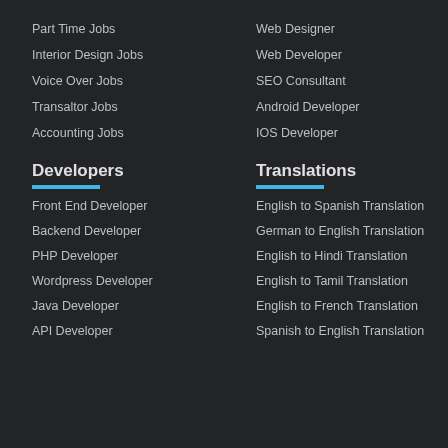Part Time Jobs
Interior Design Jobs
Voice Over Jobs
Transaltor Jobs
Accounting Jobs
Web Designer
Web Developer
SEO Consultant
Android Developer
IOS Developer
Developers
Front End Developer
Backend Developer
PHP Developer
Wordpress Developer
Java Developer
API Developer
Translations
English to Spanish Translation
German to English Translation
English to Hindi Translation
English to Tamil Translation
English to French Translation
Spanish to English Translation